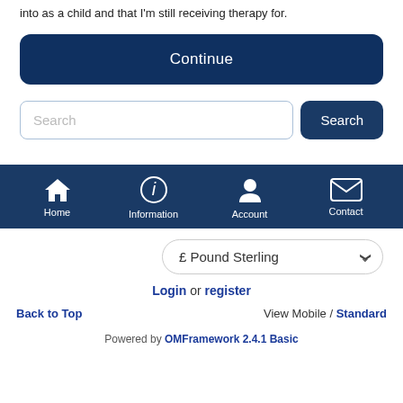into as a child and that I'm still receiving therapy for.
Continue
Search
Home  Information  Account  Contact
£ Pound Sterling
Login or register
Back to Top    View Mobile / Standard
Powered by OMFramework 2.4.1 Basic